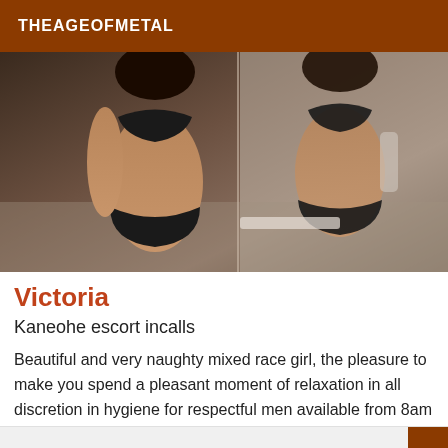THEAGEOFMETAL
[Figure (photo): Photo of a woman in black bikini in a bathroom with mirror reflection]
Victoria
Kaneohe escort incalls
Beautiful and very naughty mixed race girl, the pleasure to make you spend a pleasant moment of relaxation in all discretion in hygiene for respectful men available from 8am to 9pm call for more info or contact WhatsApp